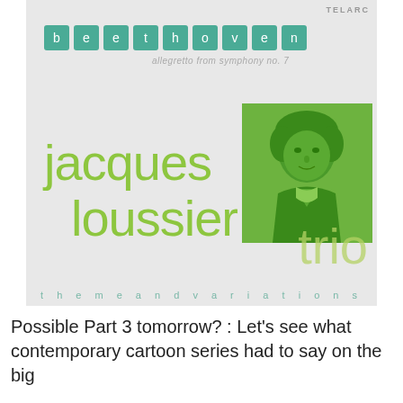[Figure (illustration): Album cover for Jacques Loussier Trio - Beethoven Allegretto from Symphony No. 7, Theme and Variations. Teal letter boxes spelling 'beethoven', green portrait illustration of Beethoven, large green text with artist name and album subtitle.]
Possible Part 3 tomorrow? : Let's see what contemporary cartoon series had to say on the big